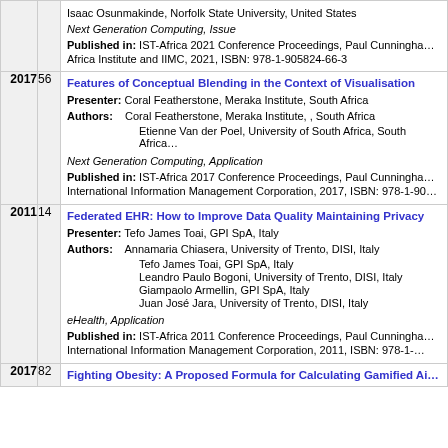| Year | ID | Content |
| --- | --- | --- |
|  |  | Isaac Osunmakinde, Norfolk State University, United States
Next Generation Computing, Issue
Published in: IST-Africa 2021 Conference Proceedings, Paul Cunningha...
Africa Institute and IIMC, 2021, ISBN: 978-1-905824-66-3 |
| 2017 | 56 | Features of Conceptual Blending in the Context of Visualisation
Presenter: Coral Featherstone, Meraka Institute, South Africa
Authors: Coral Featherstone, Meraka Institute, , South Africa
Etienne Van der Poel, University of South Africa, South Africa
Next Generation Computing, Application
Published in: IST-Africa 2017 Conference Proceedings, Paul Cunningha...
International Information Management Corporation, 2017, ISBN: 978-1-90... |
| 2011 | 14 | Federated EHR: How to Improve Data Quality Maintaining Privacy
Presenter: Tefo James Toai, GPI SpA, Italy
Authors: Annamaria Chiasera, University of Trento, DISI, Italy
Tefo James Toai, GPI SpA, Italy
Leandro Paulo Bogoni, University of Trento, DISI, Italy
Giampaolo Armellin, GPI SpA, Italy
Juan José Jara, University of Trento, DISI, Italy
eHealth, Application
Published in: IST-Africa 2011 Conference Proceedings, Paul Cunningha...
International Information Management Corporation, 2011, ISBN: 978-1-... |
| 2017 | 82 | Fighting Obesity: A Proposed Formula for Calculating Gamified Ai... |